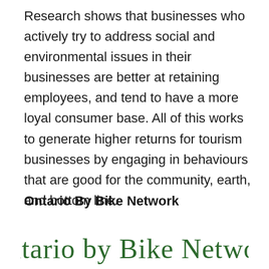Research shows that businesses who actively try to address social and environmental issues in their businesses are better at retaining employees, and tend to have a more loyal consumer base. All of this works to generate higher returns for tourism businesses by engaging in behaviours that are good for the community, earth, and bottom line.
Ontario By Bike Network
[Figure (logo): Ontario By Bike Network cursive/script logo in dark green]